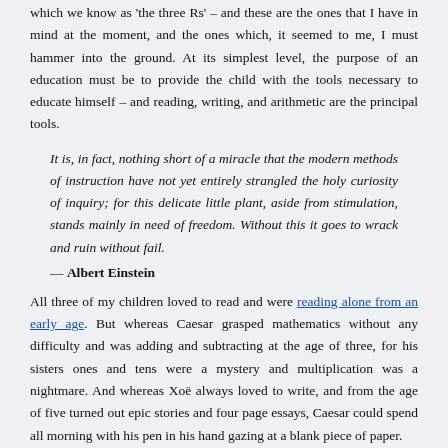which we know as 'the three Rs' – and these are the ones that I have in mind at the moment, and the ones which, it seemed to me, I must hammer into the ground. At its simplest level, the purpose of an education must be to provide the child with the tools necessary to educate himself – and reading, writing, and arithmetic are the principal tools.
It is, in fact, nothing short of a miracle that the modern methods of instruction have not yet entirely strangled the holy curiosity of inquiry; for this delicate little plant, aside from stimulation, stands mainly in need of freedom. Without this it goes to wrack and ruin without fail.
— Albert Einstein
All three of my children loved to read and were reading alone from an early age. But whereas Caesar grasped mathematics without any difficulty and was adding and subtracting at the age of three, for his sisters ones and tens were a mystery and multiplication was a nightmare. And whereas Xoë always loved to write, and from the age of five turned out epic stories and four page essays, Caesar could spend all morning with his pen in his hand gazing at a blank piece of paper.
Because I, too, was mathslexic as a child – to the extent that I would